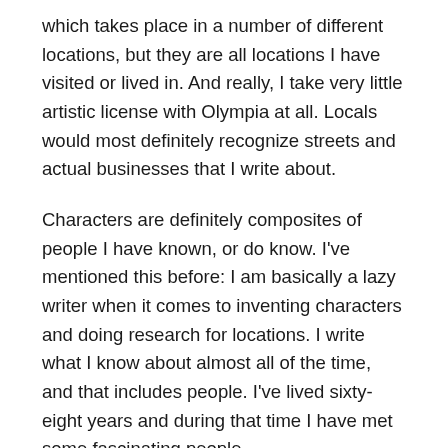which takes place in a number of different locations, but they are all locations I have visited or lived in. And really, I take very little artistic license with Olympia at all. Locals would most definitely recognize streets and actual businesses that I write about.
Characters are definitely composites of people I have known, or do know. I've mentioned this before: I am basically a lazy writer when it comes to inventing characters and doing research for locations. I write what I know about almost all of the time, and that includes people. I've lived sixty-eight years and during that time I have met some fascinating people.
This year you've taken a break from novel-writing to concentrate on self-publishing 3 colouring (coloring)